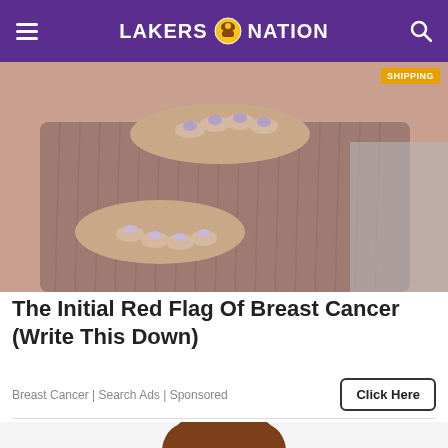LAKERS NATION
[Figure (photo): Close-up photo of hands with light purple nail polish touching fabric, medical/health related image for breast cancer article]
The Initial Red Flag Of Breast Cancer (Write This Down)
Breast Cancer | Search Ads | Sponsored
[Figure (illustration): Cartoon illustration of a person with brown hair, partially visible at the bottom of the page]